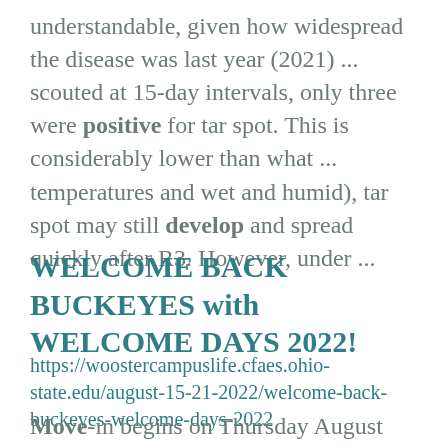understandable, given how widespread the disease was last year (2021) ... scouted at 15-day intervals, only three were positive for tar spot. This is considerably lower than what ... temperatures and wet and humid), tar spot may still develop and spread quickly after R3. However, under ...
WELCOME BACK BUCKEYES with WELCOME DAYS 2022!
https://woostercampuslife.cfaes.ohio-state.edu/august-15-21-2022/welcome-back-buckeyes-welcome-days-2022
Move-in begins on Thursday August 18th-Saturday August 20th!  Check out the full